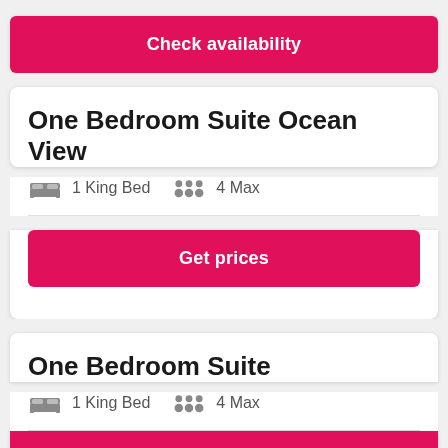[Figure (screenshot): Check availability pink button at the top of a hotel room listing page]
One Bedroom Suite Ocean View
1 King Bed   4 Max
[Figure (screenshot): Get prices pink button]
One Bedroom Suite
1 King Bed   4 Max